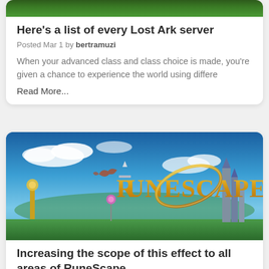[Figure (photo): Top portion of a nature/forest background image (grass and trees visible)]
Here's a list of every Lost Ark server
Posted Mar 1 by bertramuzi
When your advanced class and class choice is made, you're given a chance to experience the world using differe
Read More...
[Figure (photo): RuneScape promotional banner image showing fantasy landscape with the RuneScape logo in gold lettering on a blue sky background with fantasy architecture]
Increasing the scope of this effect to all areas of RuneScape
Posted Feb 27 by MagdaDorian